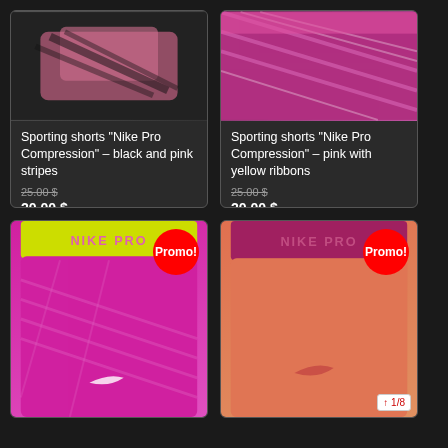[Figure (photo): Nike Pro Compression shorts, black and pink stripes, folded on dark surface]
Sporting shorts “Nike Pro Compression” – black and pink stripes
25.00 $
20.00 $
Add to cart
[Figure (photo): Nike Pro Compression shorts, pink with yellow ribbons/stripes pattern]
Sporting shorts “Nike Pro Compression” – pink with yellow ribbons
25.00 $
20.00 $
Add to cart
[Figure (photo): Nike Pro Compression shorts, magenta/pink with geometric pattern and yellow-green waistband, Promo badge]
[Figure (photo): Nike Pro Compression shorts, orange/coral with dark pink/maroon waistband, Promo badge]